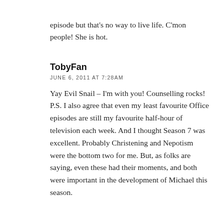episode but that's no way to live life. C'mon people! She is hot.
TobyFan
JUNE 6, 2011 AT 7:28AM
Yay Evil Snail – I'm with you! Counselling rocks! P.S. I also agree that even my least favourite Office episodes are still my favourite half-hour of television each week. And I thought Season 7 was excellent. Probably Christening and Nepotism were the bottom two for me. But, as folks are saying, even these had their moments, and both were important in the development of Michael this season.